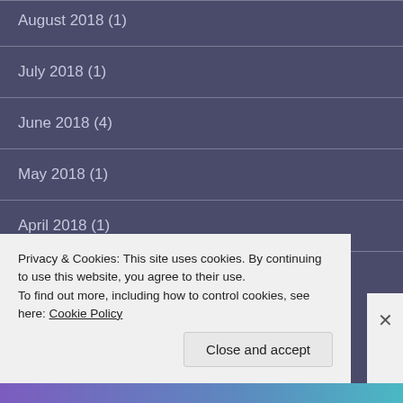August 2018 (1)
July 2018 (1)
June 2018 (4)
May 2018 (1)
April 2018 (1)
Privacy & Cookies: This site uses cookies. By continuing to use this website, you agree to their use.
To find out more, including how to control cookies, see here: Cookie Policy
Close and accept